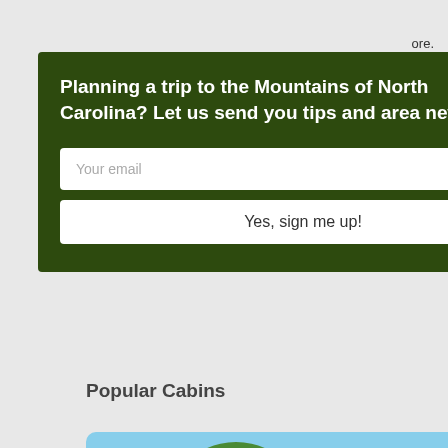ore.
ntals today to
ns! We look
[Figure (screenshot): Email newsletter signup modal popup with dark green background. Title reads 'Planning a trip to the Mountains of North Carolina? Let us send you tips and area news!' with an email input field and 'Yes, sign me up!' button. There is a close (X) button in the top right.]
Popular Cabins
[Figure (photo): Photo of a large log cabin named Prairie Retreat surrounded by green trees with a blue sky. The cabin has multiple stories with large windows and a deck. Caption below reads 'Prairie Retreat' and '3 Bedrooms 3 Bathrooms'.]
Prairie Retreat
3 Bedrooms  3 Bathrooms